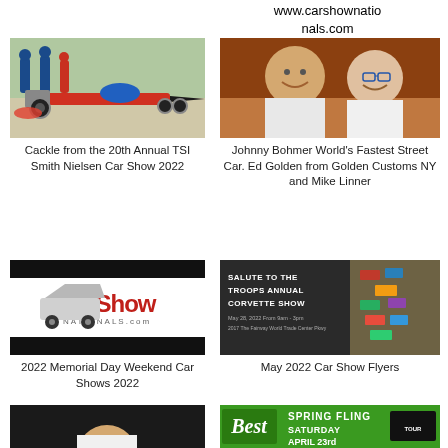www.carshownatio nals.com
[Figure (photo): Dragster car at a car show event]
[Figure (photo): Two men smiling for the camera]
Cackle from the 20th Annual TSI Smith Nielsen Car Show 2022
Johnny Bohmer World's Fastest Street Car. Ed Golden from Golden Customs NY and Mike Linner
[Figure (logo): CarShow Nationals logo on black background]
[Figure (photo): Salute to the Troops Annual Corvette Show flyer with aerial view of cars]
2022 Memorial Day Weekend Car Shows 2022
May 2022 Car Show Flyers
[Figure (photo): Person against dark background]
[Figure (photo): Spring Fling Saturday April 23rd event flyer on green background]